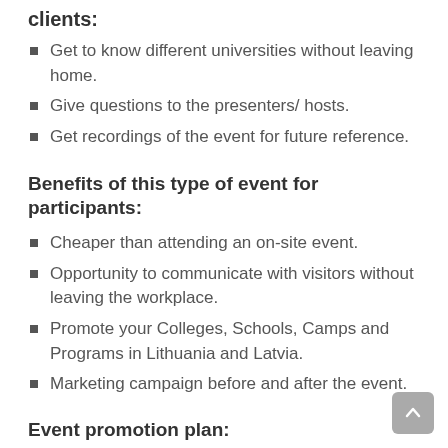clients:
Get to know different universities without leaving home.
Give questions to the presenters/ hosts.
Get recordings of the event for future reference.
Benefits of this type of event for participants:
Cheaper than attending an on-site event.
Opportunity to communicate with visitors without leaving the workplace.
Promote your Colleges, Schools, Camps and Programs in Lithuania and Latvia.
Marketing campaign before and after the event.
Event promotion plan: